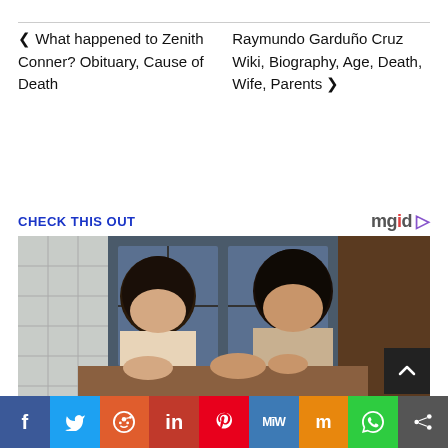◀ What happened to Zenith Conner? Obituary, Cause of Death
Raymundo Garduño Cruz Wiki, Biography, Age, Death, Wife, Parents ▶
CHECK THIS OUT
[Figure (photo): Two young Asian women talking to each other, one on the left with short hair looking at the other, who is smiling, with buildings and a window in the background.]
[Figure (logo): mgid logo with play button icon]
Social share bar with Facebook, Twitter, Reddit, LinkedIn, Pinterest, MeWe, Mix, WhatsApp, and Share buttons